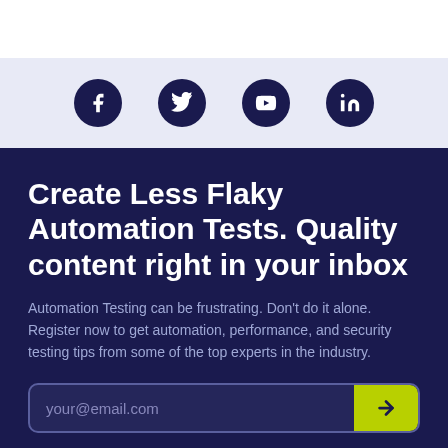[Figure (infographic): Social media icons row: Facebook, Twitter, YouTube, LinkedIn — white icons on dark navy circular backgrounds, on a light lavender/blue-gray background strip]
Create Less Flaky Automation Tests. Quality content right in your inbox
Automation Testing can be frustrating. Don't do it alone. Register now to get automation, performance, and security testing tips from some of the top experts in the industry.
your@email.com